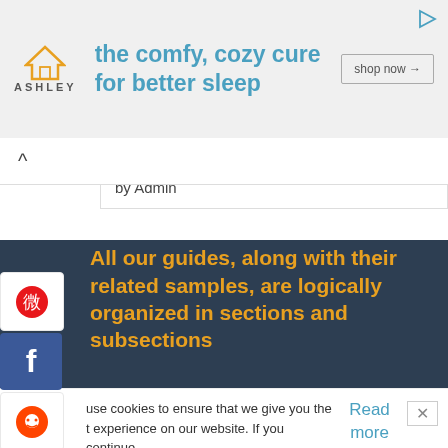[Figure (screenshot): Ashley Furniture ad banner with house logo, tagline 'the comfy, cozy cure for better sleep', and 'shop now' button]
Divergent Novel Thesis Statement asked by Admin
All our guides, along with their related samples, are logically organized in sections and subsections
Plagiarism Checker   Citation Generator   Essay Topics
Ask Questions Online   Writing Terms
use cookies to ensure that we give you the t experience on our website. If you continue without changing your settings, we'll assume that you are happy to receive all cookies.
Read more